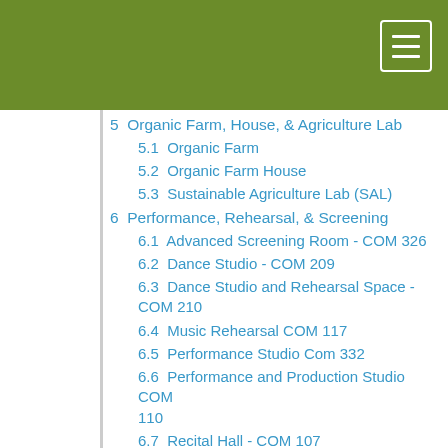5  Organic Farm, House, & Agriculture Lab
5.1  Organic Farm
5.2  Organic Farm House
5.3  Sustainable Agriculture Lab (SAL)
6  Performance, Rehearsal, & Screening
6.1  Advanced Screening Room - COM 326
6.2  Dance Studio - COM 209
6.3  Dance Studio and Rehearsal Space - COM 210
6.4  Music Rehearsal COM 117
6.5  Performance Studio Com 332
6.6  Performance and Production Studio COM 110
6.7  Recital Hall - COM 107
7  Science Labs
7.1  Chemistry Labs
7.2  Phage Biology Lab
7.3  Schedule a Space via Schedule Evergreen